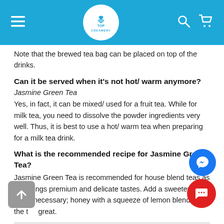TOP CREAMERY
Note that the brewed tea bag can be placed on top of the drinks.
Can it be served when it's not hot/ warm anymore?
Jasmine Green Tea
Yes, in fact, it can be mixed/ used for a fruit tea. While for milk tea, you need to dissolve the powder ingredients very well. Thus, it is best to use a hot/ warm tea when preparing for a milk tea drink.
What is the recommended recipe for Jasmine Green Tea?
Jasmine Green Tea is recommended for house blend teas as this brings premium and delicate tastes. Add a sweetener when necessary; honey with a squeeze of lemon blends with the tea great.
Any additional/ important information I need to remember brewing Jasmine Green Tea?
Tea experts in Taiwan do not recommend re-brewing of tea